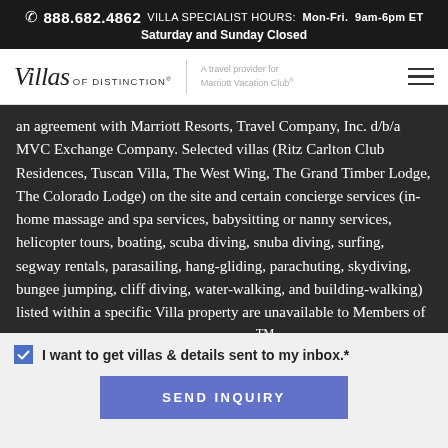📞 888.682.4862  VILLA SPECIALIST HOURS:  Mon-Fri.  9am-6pm ET  Saturday and Sunday Closed
[Figure (logo): Villas of Distinction logo with 'A travel provider for Marriott Vacation Club' tagline and hamburger menu icon]
an agreement with Marriott Resorts, Travel Company, Inc. d/b/a MVC Exchange Company. Selected villas (Ritz Carlton Club Residences, Tuscan Villa, The West Wing, The Grand Timber Lodge, The Colorado Lodge) on the site and certain concierge services (in-home massage and spa services, babysitting or nanny services, helicopter tours, boating, scuba diving, snuba diving, surfing, segway rentals, parasailing, hang-gliding, parachuting, skydiving, bungee jumping, cliff diving, water-walking, and building-walking) listed within a specific Villa property are unavailable to Members of the Marriott Vacation Club DestinationsTM Exchange Program. A Villas of Distinction specialist or Concierge will be able to confirm the
I want to get villas & details sent to my inbox.*
SEND INQUIRY